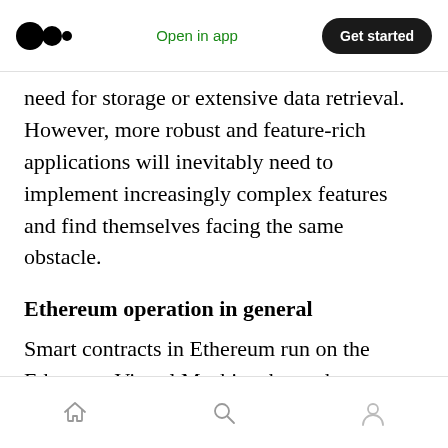Open in app | Get started
need for storage or extensive data retrieval. However, more robust and feature-rich applications will inevitably need to implement increasingly complex features and find themselves facing the same obstacle.
Ethereum operation in general
Smart contracts in Ethereum run on the Ethereum Virtual Machine, better known as the EVM. The EVM charges its users a “gas” fee for every operation performed. As a result, all complex operations have to be hand-written, without the support you’d get from higher-level
Home | Search | Profile